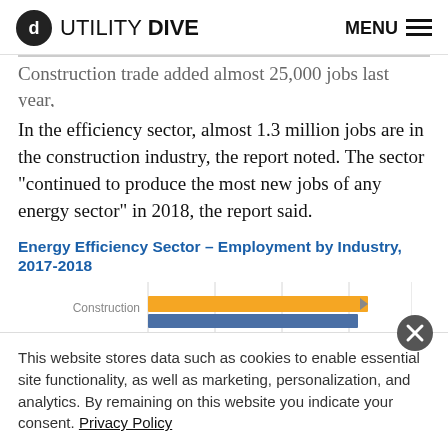UTILITY DIVE | MENU
Construction trade added almost 25,000 jobs last year, and professional services added 35,000.
In the efficiency sector, almost 1.3 million jobs are in the construction industry, the report noted. The sector “continued to produce the most new jobs of any energy sector” in 2018, the report said.
Energy Efficiency Sector – Employment by Industry, 2017-2018
[Figure (bar-chart): Horizontal bar chart showing Construction industry employment for 2017 and 2018, partially visible]
This website stores data such as cookies to enable essential site functionality, as well as marketing, personalization, and analytics. By remaining on this website you indicate your consent. Privacy Policy